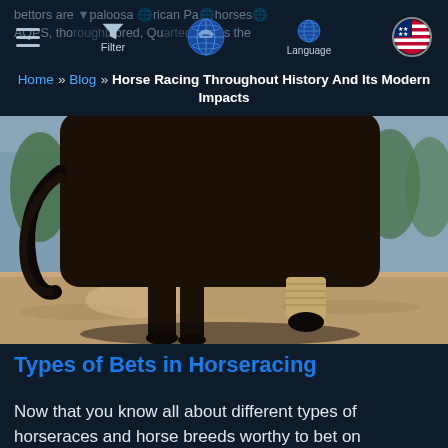bettors are Appaloosa, American Paint horses, AQPS, thoroughbred, Quarter horses, the
Home » Blog » Horse Racing Throughout History And Its Modern Impacts
[Figure (photo): Close-up ground-level photograph of a dark horse running on a sandy dirt track with legs in motion, bandaged lower foreleg visible, trees and buildings blurred in background]
Types of Bets in Horseracing
Now that you know all about different types of horseraces and horse breeds worthy to bet on